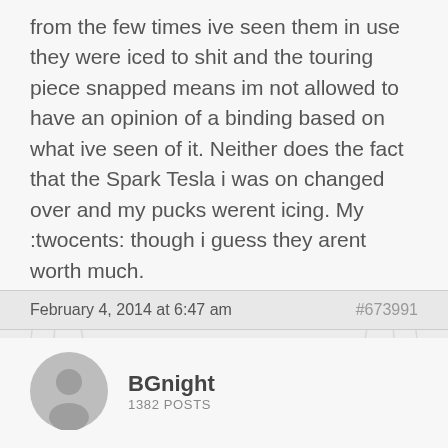from the few times ive seen them in use they were iced to shit and the touring piece snapped means im not allowed to have an opinion of a binding based on what ive seen of it. Neither does the fact that the Spark Tesla i was on changed over and my pucks werent icing. My :twocents: though i guess they arent worth much.
February 4, 2014 at 6:47 am  #673991
BGnight
1382 POSTS
lightrails...
L O L 😊